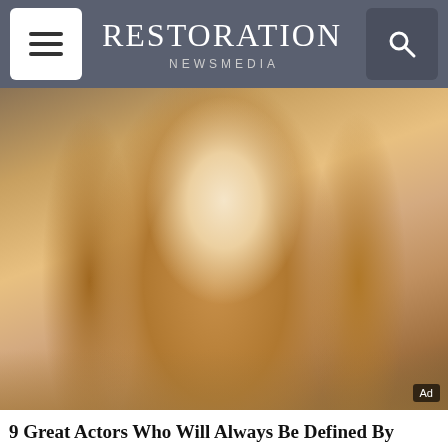RESTORATION NEWSMEDIA
[Figure (photo): Photo of a woman with long blonde hair and red lipstick, sitting on a couch, looking sideways. 'Ad' badge in bottom right corner.]
9 Great Actors Who Will Always Be Defined By One Role
Brainberries
[Figure (photo): Microscope image of monkeypox virus particles (grayscale electron microscopy), with a play button overlay indicating video content. Dark panel beside it reads: WHO declares monkeypox a global health emergency]
WHO declares monkeypox a global health emergency